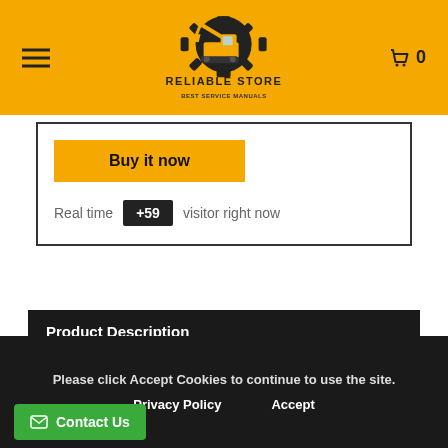[Figure (logo): Reliable Store logo with excavator on gear, yellow background header with hamburger menu and cart icon]
Buy it now
Real time +59 visitor right now
Product Description
Reviews
Please click Accept Cookies to continue to use the site.
Privacy Policy   Accept
Contact Us